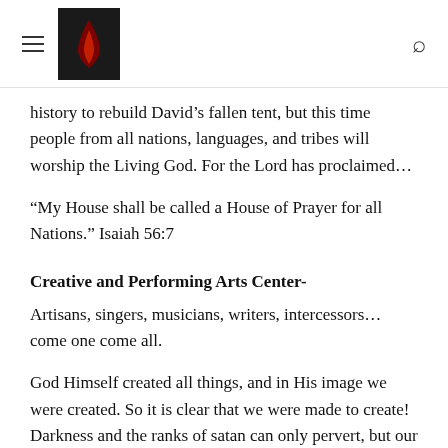[Navigation header with hamburger menu, logo, and search icon]
history to rebuild David’s fallen tent, but this time people from all nations, languages, and tribes will worship the Living God. For the Lord has proclaimed…
“My House shall be called a House of Prayer for all Nations.” Isaiah 56:7
Creative and Performing Arts Center-
Artisans, singers, musicians, writers, intercessors…come one come all.
God Himself created all things, and in His image we were created. So it is clear that we were made to create! Darkness and the ranks of satan can only pervert, but our Lord is the Creator. It is time for true creativity to come forth. Artisans of all kinds will fill His House and make it